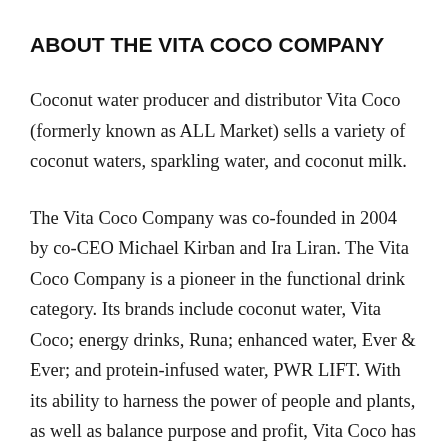ABOUT THE VITA COCO COMPANY
Coconut water producer and distributor Vita Coco (formerly known as ALL Market) sells a variety of coconut waters, sparkling water, and coconut milk.
The Vita Coco Company was co-founded in 2004 by co-CEO Michael Kirban and Ira Liran. The Vita Coco Company is a pioneer in the functional drink category. Its brands include coconut water, Vita Coco; energy drinks, Runa; enhanced water, Ever & Ever; and protein-infused water, PWR LIFT. With its ability to harness the power of people and plants, as well as balance purpose and profit, Vita Coco has created a